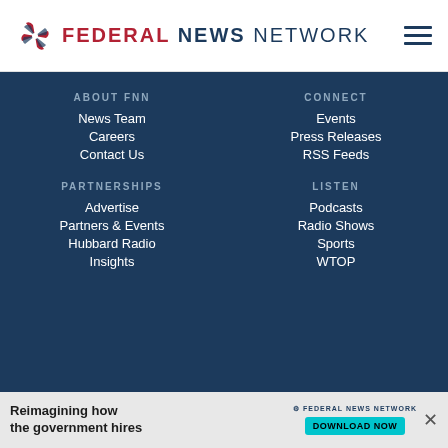[Figure (logo): Federal News Network logo with pinwheel icon and text]
ABOUT FNN
News Team
Careers
Contact Us
CONNECT
Events
Press Releases
RSS Feeds
PARTNERSHIPS
Advertise
Partners & Events
Hubbard Radio
Insights
LISTEN
Podcasts
Radio Shows
Sports
WTOP
[Figure (infographic): Social media icons: Facebook, Twitter, LinkedIn, Instagram]
[Figure (infographic): Advertisement banner: Reimagining how the government hires — Federal News Network — Download Now]